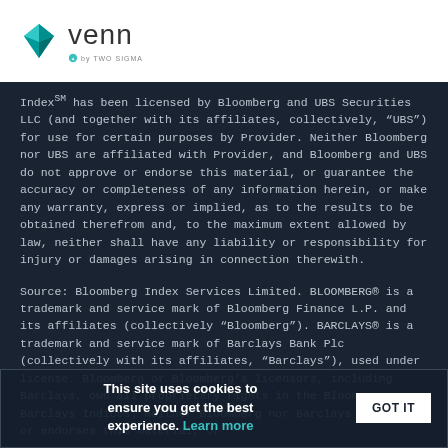venn by TWO SIGMA
IndexSM has been licensed by Bloomberg and UBS Securities LLC (and together with its affiliates, collectively, “UBS”) for use for certain purposes by Provider. Neither Bloomberg nor UBS are affiliated with Provider, and Bloomberg and UBS do not approve or endorse this material, or guarantee the accuracy or completeness of any information herein, or make any warranty, express or implied, as to the results to be obtained therefrom and, to the maximum extent allowed by law, neither shall have any liability or responsibility for injury or damages arising in connection therewith.
Source: Bloomberg Index Services Limited. BLOOMBERG® is a trademark and service mark of Bloomberg Finance L.P. and its affiliates (collectively “Bloomberg”). BARCLAYS® is a trademark and service mark of Barclays Bank Plc (collectively with its affiliates, “Barclays”), used under license. Bloomberg or Bloomberg’s licensors, including Barclays, own all proprietary rights in the Bloomberg Barclays Indices. Neither Bloomberg nor Barclays approves or endorses this material, or
This site uses cookies to ensure you get the best experience. Learn more   GOT IT